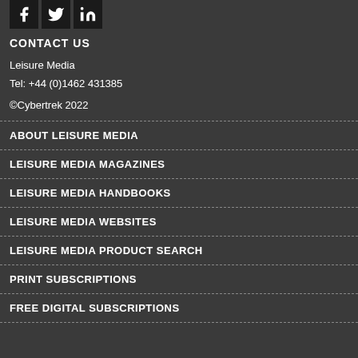[Figure (logo): Three social media icons: Facebook, Twitter, LinkedIn on dark background]
CONTACT US
Leisure Media
Tel: +44 (0)1462 431385
©Cybertrek 2022
ABOUT LEISURE MEDIA
LEISURE MEDIA MAGAZINES
LEISURE MEDIA HANDBOOKS
LEISURE MEDIA WEBSITES
LEISURE MEDIA PRODUCT SEARCH
PRINT SUBSCRIPTIONS
FREE DIGITAL SUBSCRIPTIONS